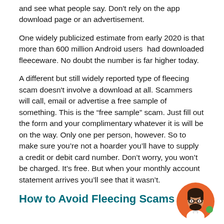and see what people say. Don't rely on the app download page or an advertisement.
One widely publicized estimate from early 2020 is that more than 600 million Android users had downloaded fleeceware. No doubt the number is far higher today.
A different but still widely reported type of fleecing scam doesn't involve a download at all. Scammers will call, email or advertise a free sample of something. This is the “free sample” scam. Just fill out the form and your complimentary whatever it is will be on the way. Only one per person, however. So to make sure you’re not a hoarder you’ll have to supply a credit or debit card number. Don’t worry, you won’t be charged. It’s free. But when your monthly account statement arrives you'll see that it wasn’t.
How to Avoid Fleecing Scams
[Figure (illustration): Circular avatar illustration of a man with dark hair, beard, and glasses wearing a white shirt, on an orange background with a small green circle accent.]